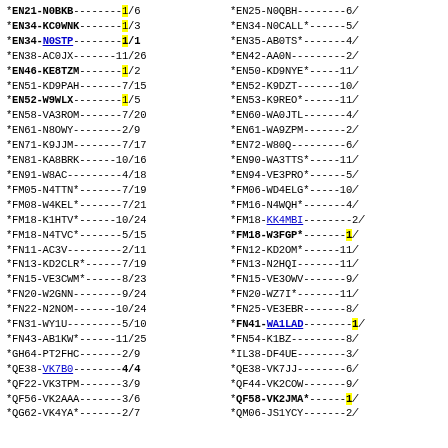*EN21-N0BKB--------1/6
*EN34-KC0WNK-------1/3
*EN34-N0STP--------1/1
*EN38-AC0JX-------11/26
*EN46-KE8TZM-------1/2
*EN51-KD9PAH-------7/15
*EN52-W9WLX--------1/5
*EN58-VA3ROM-------7/20
*EN61-N8OWY--------2/9
*EN71-K9JJM--------7/17
*EN81-KA8BRK------10/16
*EN91-W8AC---------4/18
*FM05-N4TTN*-------7/19
*FM08-W4KEL*-------7/21
*FM18-K1HTV*------10/24
*FM18-N4TVC*-------5/15
*FN11-AC3V---------2/11
*FN13-KD2CLR*------7/19
*FN15-VE3CWM*------8/23
*FN20-W2GNN--------9/24
*FN22-N2NOM-------10/24
*FN31-WY1U---------5/10
*FN43-AB1KW*------11/25
*GH64-PT2FHC-------2/9
*QE38-VK7B0--------4/4
*QF22-VK3TPM-------3/9
*QF56-VK2AAA-------3/6
*QG62-VK4YA*-------2/7
*EN25-N0QBH--------6/
*EN34-N0CALL*------5/
*EN35-AB0TS*-------4/
*EN42-AA0N---------2/
*EN50-KD9NYE*-----11/
*EN52-K9DZT-------10/
*EN53-K9REO*------11/
*EN60-WA0JTL-------4/
*EN61-WA9ZPM-------2/
*EN72-W80Q---------6/
*EN90-WA3TTS*-----11/
*EN94-VE3PRO*------5/
*FM06-WD4ELG*-----10/
*FM16-N4WQH*-------4/
*FM18-KK4MBI-------2/
*FM18-W3FGP*-------1/
*FN12-KD2OM*------11/
*FN13-N2HQI-------11/
*FN15-VE3OWV-------9/
*FN20-WZ7I*-------11/
*FN25-VE3EBR-------8/
*FN41-WA1LAD-------1/
*FN54-K1BZ---------8/
*IL38-DF4UE--------3/
*QE38-VK7JJ--------6/
*QF44-VK2COW-------9/
*QF58-VK2JMA*------1/
*QM06-JS1YCY-------2/